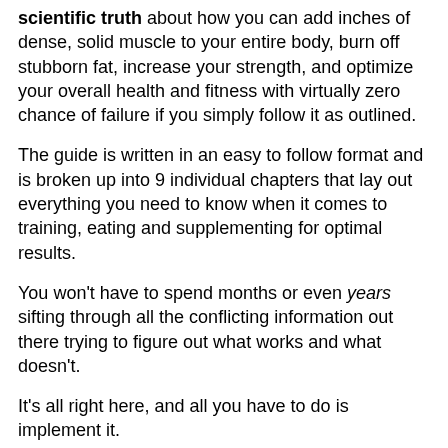scientific truth about how you can add inches of dense, solid muscle to your entire body, burn off stubborn fat, increase your strength, and optimize your overall health and fitness with virtually zero chance of failure if you simply follow it as outlined.
The guide is written in an easy to follow format and is broken up into 9 individual chapters that lay out everything you need to know when it comes to training, eating and supplementing for optimal results.
You won't have to spend months or even years sifting through all the conflicting information out there trying to figure out what works and what doesn't.
It's all right here, and all you have to do is implement it.